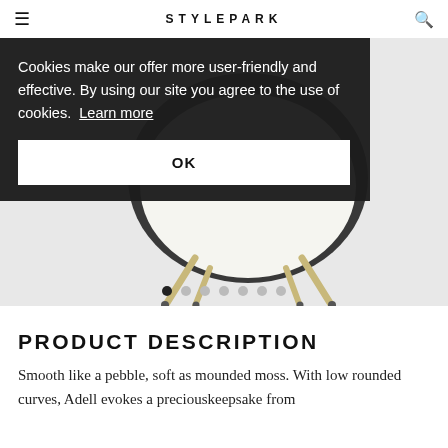STYLEPARK
[Figure (photo): Product photo of a modern chair with white rounded seat shell and light wooden/gold metal legs on a light grey background. A cookie consent overlay covers the upper left portion of the image.]
Cookies make our offer more user-friendly and effective. By using our site you agree to the use of cookies. Learn more
OK
PRODUCT DESCRIPTION
Smooth like a pebble, soft as mounded moss. With low rounded curves, Adell evokes a preciouskeepsake from